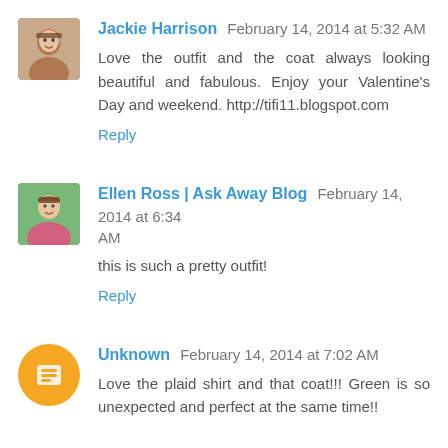Jackie Harrison February 14, 2014 at 5:32 AM
Love the outfit and the coat always looking beautiful and fabulous. Enjoy your Valentine's Day and weekend. http://tifi11.blogspot.com
Reply
Ellen Ross | Ask Away Blog February 14, 2014 at 6:34 AM
this is such a pretty outfit!
Reply
Unknown February 14, 2014 at 7:02 AM
Love the plaid shirt and that coat!!! Green is so unexpected and perfect at the same time!!

Xoxo